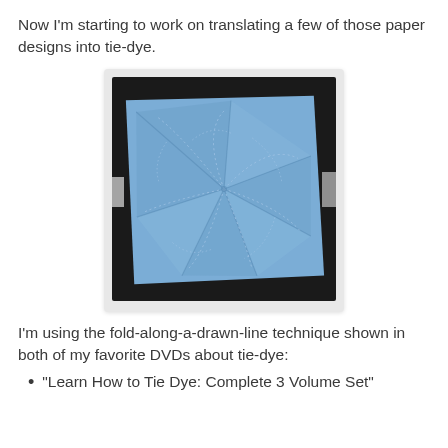Now I'm starting to work on translating a few of those paper designs into tie-dye.
[Figure (photo): A light blue piece of fabric folded with a pinwheel/star origami pattern, photographed on a dark background with white corners visible at the edges. The fabric shows radiating folds from the center creating a multi-pointed star shape, with dotted stitch lines visible along the fold lines.]
I'm using the fold-along-a-drawn-line technique shown in both of my favorite DVDs about tie-dye:
"Learn How to Tie Dye: Complete 3 Volume Set"